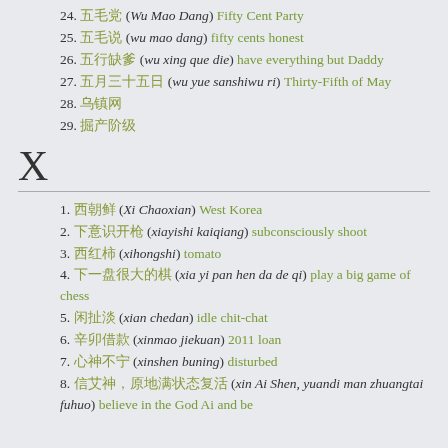24. 五毛党 (Wu Mao Dang) Fifty Cent Party
25. 五毛说 (wu mao dang) fifty cents honest
26. 五行缺爹 (wu xing que die) have everything but Daddy
27. 五月三十五日 (wu yue sanshiwu ri) Thirty-Fifth of May
28. 乌镇网
29. 掘产阶级
X
1. 西朝鲜 (Xi Chaoxian) West Korea
2. 下意识开枪 (xiayishi kaiqiang) subconsciously shoot
3. 西红柿 (xihongshi) tomato
4. 下一盘很大的棋 (xia yi pan hen da de qi) play a big game of chess
5. 闲扯淡 (xian chedan) idle chit-chat
6. 辛卯借款 (xinmao jiekuan) 2011 loan
7. 心神不宁 (xinshen buning) disturbed
8. 信艾神，原地满状态复活 (xin Ai Shen, yuandi man zhuangtai fuhuo) believe in the God Ai and be